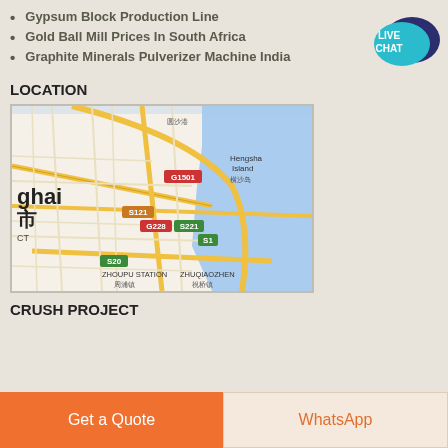Gypsum Block Production Line
Gold Ball Mill Prices In South Africa
Graphite Minerals Pulverizer Machine India
[Figure (logo): Live Chat speech bubble badge in teal and dark blue]
LOCATION
[Figure (map): Google Maps view of Shanghai area showing Hengsha Island, roads G1501, S121, G228, S221, S1, S20, Zhoupu Station and Zhuqiaozhen]
CRUSH PROJECT